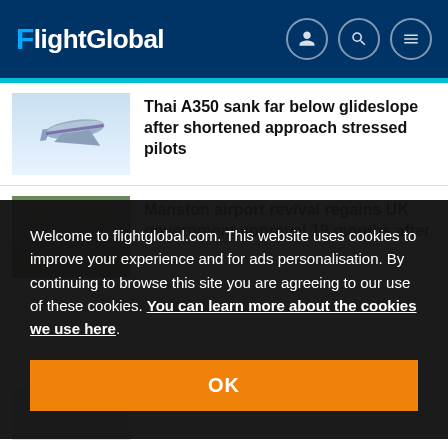FlightGlobal
[Figure (screenshot): Thumbnail image of Thai aircraft in flight against blue sky]
Thai A350 sank far below glideslope after shortened approach stressed pilots
[Figure (screenshot): Thumbnail aerial image of Manston airport]
Manston airport revival regains UK government approval 19 months after
Welcome to flightglobal.com. This website uses cookies to improve your experience and for ads personalisation. By continuing to browse this site you are agreeing to our use of these cookies. You can learn more about the cookies we use here.
OK
[Figure (screenshot): Partial thumbnail of third article]
surveillance drones to Ukraine